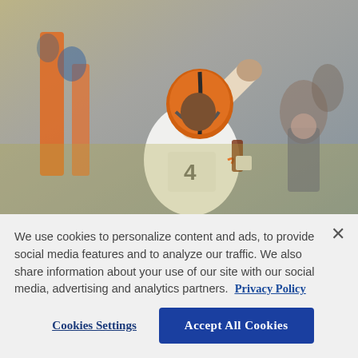[Figure (photo): Football player in Cleveland Browns white uniform and orange helmet throwing a pass, with crowd and orange-uniformed staff in background]
Fields throws 3 TD passes in half, Bears edge Browns 21-20
We use cookies to personalize content and ads, to provide social media features and to analyze our traffic. We also share information about your use of our site with our social media, advertising and analytics partners. Privacy Policy
Cookies Settings   Accept All Cookies